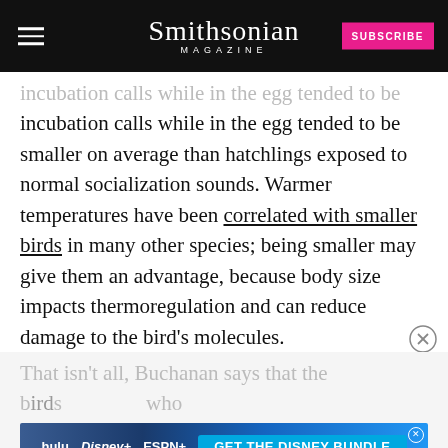Smithsonian MAGAZINE
incubation calls while in the egg tended to be smaller on average than hatchlings exposed to normal socialization sounds. Warmer temperatures have been correlated with smaller birds in many other species; being smaller may give them an advantage, because body size impacts thermoregulation and can reduce damage to the bird's molecules.
That isn't all, Buchanan says that the birds who heard ... effects even into adulthood, choosing nests that